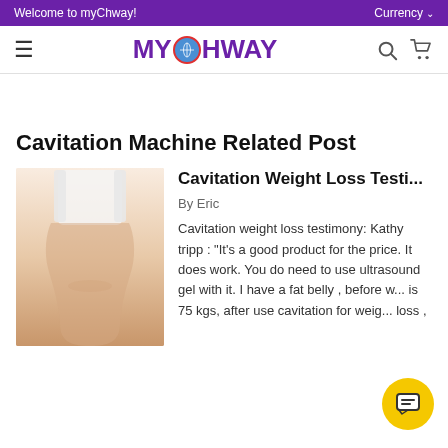Welcome to myChway!
Currency
[Figure (logo): MYChway logo with globe icon]
Cavitation Machine Related Post
[Figure (photo): Woman in white sports bra showing slim midriff]
Cavitation Weight Loss Testi...
By Eric
Cavitation weight loss testimony: Kathy tripp : "It's a good product for the price. It does work. You do need to use ultrasound gel with it. I have a fat belly , before w... is 75 kgs, after use cavitation for weig... loss ,